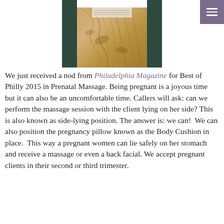[Figure (photo): Photo of a wooden massage table surface with wood grain pattern visible, taken from above. A plaque or sign is visible at the top of the table.]
We just received a nod from Philadelphia Magazine for Best of Philly 2015 in Prenatal Massage. Being pregnant is a joyous time but it can also be an uncomfortable time. Callers will ask: can we perform the massage session with the client lying on her side? This is also known as side-lying position. The answer is: we can!  We can also position the pregnancy pillow known as the Body Cushion in place.  This way a pregnant women can lie safely on her stomach and receive a massage or even a back facial. We accept pregnant clients in their second or third trimester.